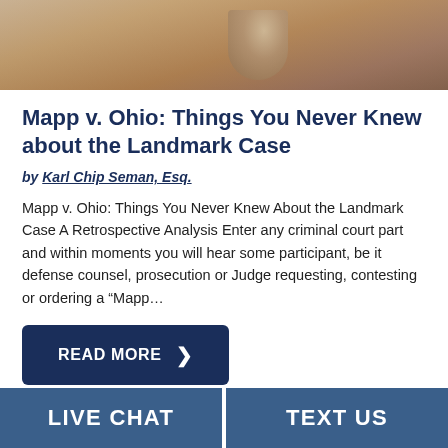[Figure (photo): Top banner photo showing what appears to be a law gavel or legal item on a wooden surface, partially cropped at top]
Mapp v. Ohio: Things You Never Knew about the Landmark Case
by Karl Chip Seman, Esq.
Mapp v. Ohio: Things You Never Knew About the Landmark Case A Retrospective Analysis Enter any criminal court part and within moments you will hear some participant, be it  defense counsel, prosecution or Judge requesting, contesting or ordering a “Mapp…
READ MORE ❯
LIVE CHAT   TEXT US